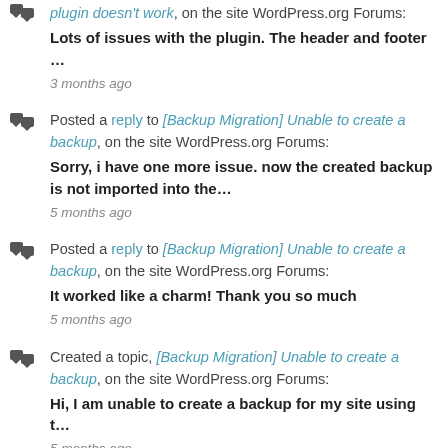plugin doesn't work, on the site WordPress.org Forums: Lots of issues with the plugin. The header and footer … 3 months ago
Posted a reply to [Backup Migration] Unable to create a backup, on the site WordPress.org Forums: Sorry, i have one more issue. now the created backup is not imported into the… 5 months ago
Posted a reply to [Backup Migration] Unable to create a backup, on the site WordPress.org Forums: It worked like a charm! Thank you so much 5 months ago
Created a topic, [Backup Migration] Unable to create a backup, on the site WordPress.org Forums: Hi, I am unable to create a backup for my site using t… 5 months ago
Created a topic, [Backup Migration] Super Easy to use, on the site WordPress.org Forums: I love this plugin. you don't need to download a… 5 months ago